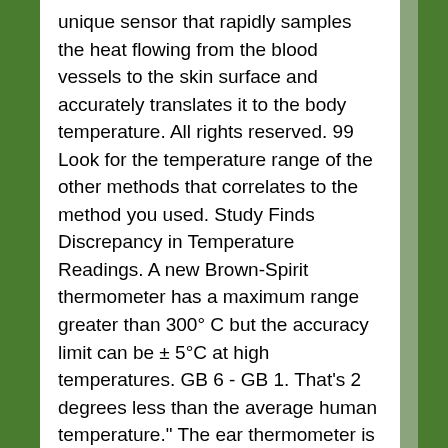unique sensor that rapidly samples the heat flowing from the blood vessels to the skin surface and accurately translates it to the body temperature. All rights reserved. 99 Look for the temperature range of the other methods that correlates to the method you used. Study Finds Discrepancy in Temperature Readings. A new Brown-Spirit thermometer has a maximum range greater than 300° C but the accuracy limit can be ± 5°C at high temperatures. GB 6 - GB 1. That's 2 degrees less than the average human temperature." The ear thermometer is also known as the tympanic thermometer. Note that if an ear thermometer probe tip is cold, it can give you a cooler reading. Some medical research suggests that temporal artery thermometers, which you use by pressing a sensor against the baby's temple, are also good options for newborns due to accuracy